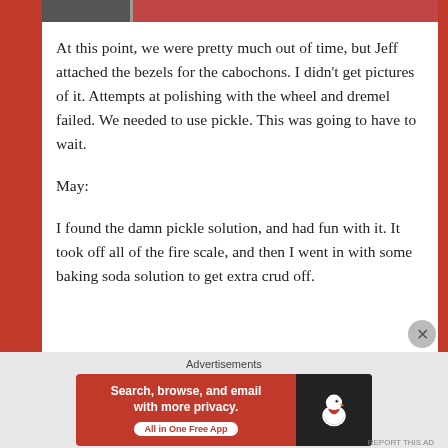[Figure (photo): Top strip showing two cropped photos — a smaller dark/grainy image on the left and a larger reddish/brown image on the right]
At this point, we were pretty much out of time, but Jeff attached the bezels for the cabochons. I didn't get pictures of it. Attempts at polishing with the wheel and dremel failed. We needed to use pickle. This was going to have to wait.
May:
I found the damn pickle solution, and had fun with it. It took off all of the fire scale, and then I went in with some baking soda solution to get extra crud off.
[Figure (screenshot): DuckDuckGo advertisement banner: 'Search, browse, and email with more privacy. All in One Free App' with DuckDuckGo duck logo on dark background]